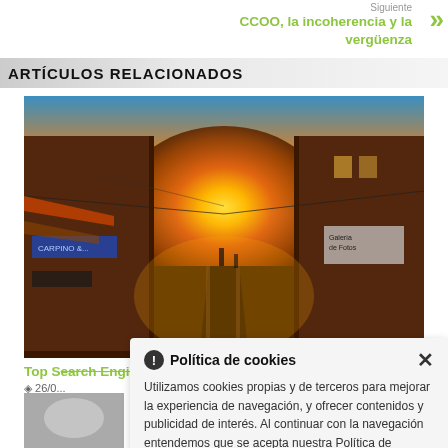Siguiente
CCOO, la incoherencia y la vergüenza
ARTÍCULOS RELACIONADOS
[Figure (photo): Street scene with golden sunset light illuminating a narrow cobblestone road flanked by buildings with shops on both sides, tram tracks visible]
Top Search Engine Optimization Strategies!
26/0...
Política de cookies
Utilizamos cookies propias y de terceros para mejorar la experiencia de navegación, y ofrecer contenidos y publicidad de interés. Al continuar con la navegación entendemos que se acepta nuestra Política de cookies. Política de cookies .